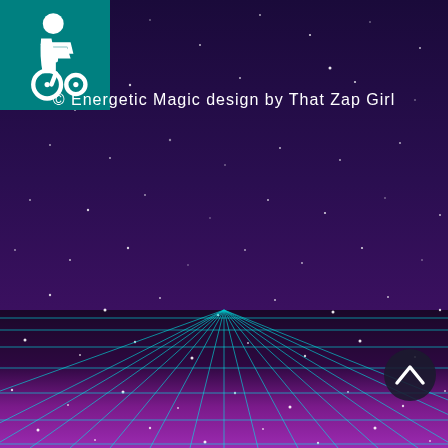[Figure (illustration): Retro synthwave/80s style background illustration with a deep space purple-dark gradient sky filled with small white star dots, and a perspective grid floor in cyan/teal lines converging at a vanishing point in the center-lower area of the image. The floor transitions from dark/black in the middle distance to vivid purple/magenta at the bottom. A teal square accessibility wheelchair icon is in the top-left corner on a teal background tile. A dark circular button with an upward chevron (^) arrow is in the lower-right area. A copyright watermark text reads: © Energetic Magic design by That Zap Girl]
© Energetic Magic design by That Zap Girl